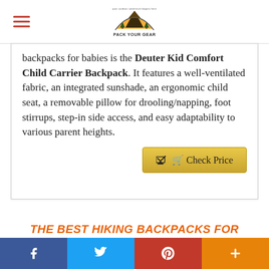Pack Your Gear
backpacks for babies is the Deuter Kid Comfort Child Carrier Backpack. It features a well-ventilated fabric, an integrated sunshade, an ergonomic child seat, a removable pillow for drooling/napping, foot stirrups, step-in side access, and easy adaptability to various parent heights.
Check Price
THE BEST HIKING BACKPACKS FOR BABIES ARE DESIGNED TO KEEP BOTH YOU AND YOUR BABY
Social share bar: Facebook, Twitter, Pinterest, Plus